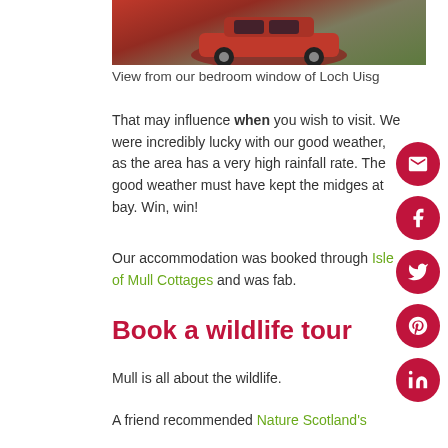[Figure (photo): Aerial/overhead view of a red car on a rocky/gravel path, with vegetation visible, partial view of Loch Uisg]
View from our bedroom window of Loch Uisg
That may influence when you wish to visit. We were incredibly lucky with our good weather, as the area has a very high rainfall rate. The good weather must have kept the midges at bay. Win, win!
Our accommodation was booked through Isle of Mull Cottages and was fab.
Book a wildlife tour
Mull is all about the wildlife.
A friend recommended Nature Scotland's